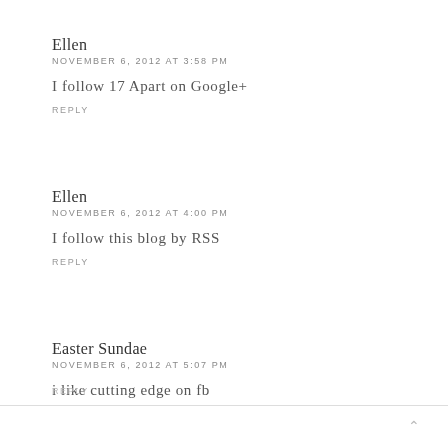Ellen
NOVEMBER 6, 2012 AT 3:58 PM
I follow 17 Apart on Google+
REPLY
Ellen
NOVEMBER 6, 2012 AT 4:00 PM
I follow this blog by RSS
REPLY
Easter Sundae
NOVEMBER 6, 2012 AT 5:07 PM
i like cutting edge on fb
REPLY